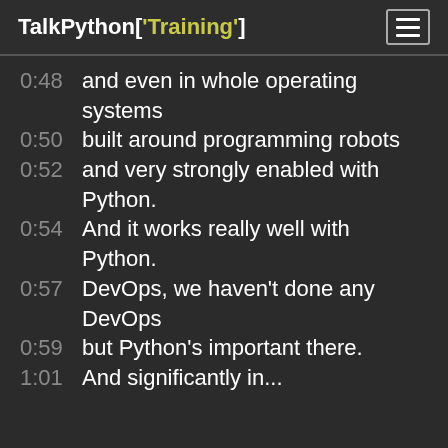TalkPython['Training']
0:48  and even in whole operating systems
0:50  built around programming robots
0:52  and very strongly enabled with Python.
0:54  And it works really well with Python.
0:57  DevOps, we haven't done any DevOps
0:59  but Python's important there.
1:01  And significantly in...